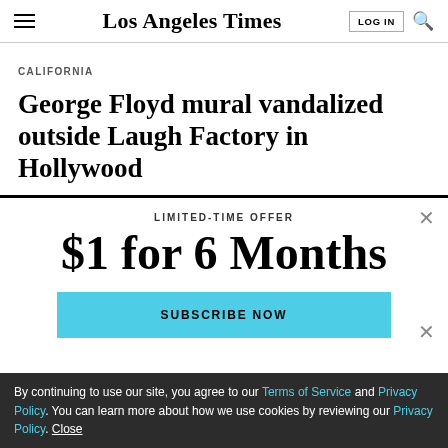Los Angeles Times
CALIFORNIA
George Floyd mural vandalized outside Laugh Factory in Hollywood
LIMITED-TIME OFFER
$1 for 6 Months
SUBSCRIBE NOW
By continuing to use our site, you agree to our Terms of Service and Privacy Policy. You can learn more about how we use cookies by reviewing our Privacy Policy. Close